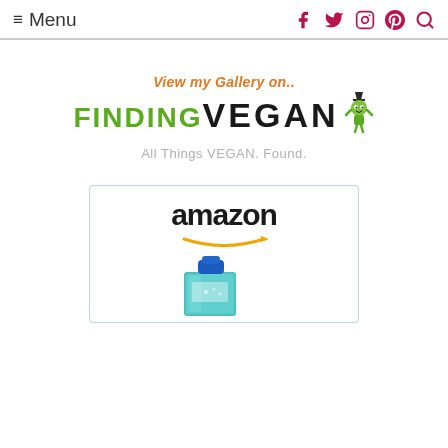≡ Menu | Social icons: Facebook, Twitter, Instagram, Pinterest, Search
[Figure (logo): Finding Vegan logo with green FINDING text, black VEGAN text, and a small mascot character. Subtitle: View my Gallery on.. All Things VEGAN. Found.]
[Figure (logo): Amazon advertisement box with amazon logo and arrow, and a product image (blue bottle/carton at bottom)]